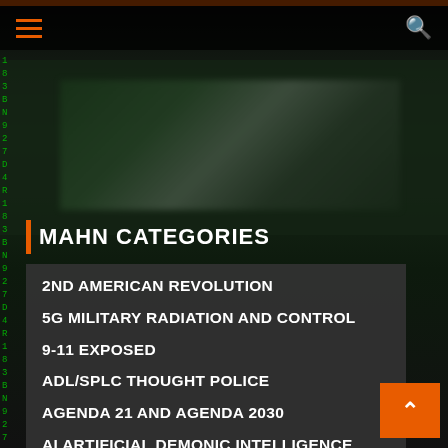MAHN — navigation header with hamburger menu and search icon
MAHN CATEGORIES
2ND AMERICAN REVOLUTION
5G MILITARY RADIATION AND CONTROL
9-11 EXPOSED
ADL/SPLC THOUGHT POLICE
AGENDA 21 AND AGENDA 2030
AI ARTIFICIAL DEMONIC INTELLIGENCE
ALIENS/DEMONS
ANTIFA COMMUNIST TERRORISTS
AUTISM FROM VACCINES
BIG PHARMA WAR CRIMINALS
BIG TECH SPYING AND CENSORSHIP